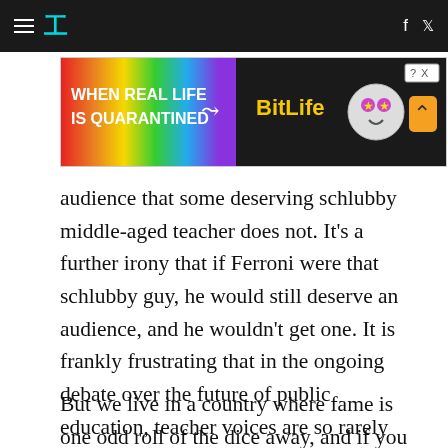HuffPost navigation bar with hamburger menu, logo, Facebook and Twitter icons
[Figure (other): BitLife advertisement banner: 'WHEN REAL LIFE IS QUARANTINED → BITLIFE' with colorful rainbow background and emoji-face character]
audience that some deserving schlubby middle-aged teacher does not. It's a further irony that if Ferroni were that schlubby guy, he would still deserve an audience, and he wouldn't get one. It is frankly frustrating that in the ongoing debate over the future of public education, teacher voices are so rarely allowed to join. In the last ten months, cable news booked 185 guests to talk about education-- only 17 of them were teachers.
But we live in a country where fame is one odd roll of the dice away, and if you win the jackpot